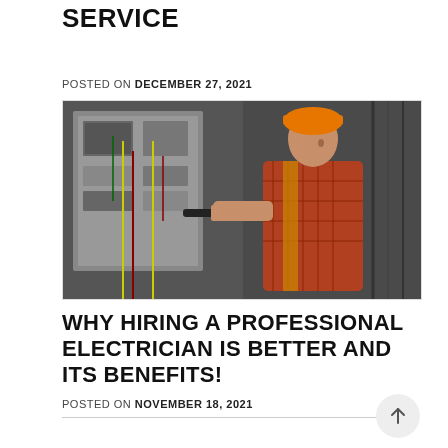SERVICE
POSTED ON DECEMBER 27, 2021
[Figure (photo): An electrician in an orange hard hat and plaid shirt working on an electrical panel, holding a tool and inspecting wires.]
WHY HIRING A PROFESSIONAL ELECTRICIAN IS BETTER AND ITS BENEFITS!
POSTED ON NOVEMBER 18, 2021